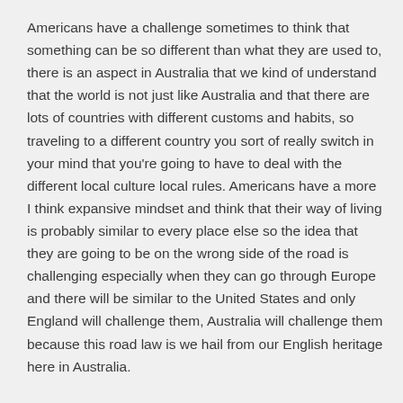Americans have a challenge sometimes to think that something can be so different than what they are used to, there is an aspect in Australia that we kind of understand that the world is not just like Australia and that there are lots of countries with different customs and habits, so traveling to a different country you sort of really switch in your mind that you're going to have to deal with the different local culture local rules. Americans have a more I think expansive mindset and think that their way of living is probably similar to every place else so the idea that they are going to be on the wrong side of the road is challenging especially when they can go through Europe and there will be similar to the United States and only England will challenge them, Australia will challenge them because this road law is we hail from our English heritage here in Australia.
Cindy: That's very interesting. Henry frankly I think you should put together a legal guide for Americans and Australians that